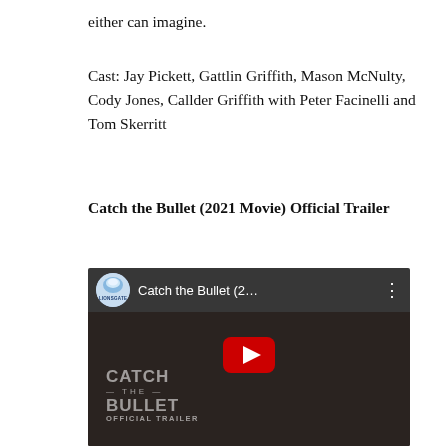either can imagine.
Cast: Jay Pickett, Gattlin Griffith, Mason McNulty, Cody Jones, Callder Griffith with Peter Facinelli and Tom Skerritt
Catch the Bullet (2021 Movie) Official Trailer
[Figure (screenshot): YouTube video embed thumbnail for 'Catch the Bullet (2021 Movie) Official Trailer' by Lionsgate. Shows a dark close-up of a man in a cowboy hat, with a red YouTube play button in the center. The video title bar reads 'LIONSGATE – Catch the Bullet (2…' with a three-dot menu. Text overlay at bottom left reads 'CATCH — THE — BULLET OFFICIAL TRAILER'.]